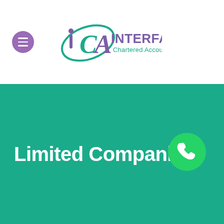[Figure (logo): ICA Interface Chartered Accountants logo with purple and green lettering and orbital graphic, alongside a purple hamburger menu button]
Limited Companies
[Figure (logo): WhatsApp icon - green circle with white phone handset inside a speech bubble]